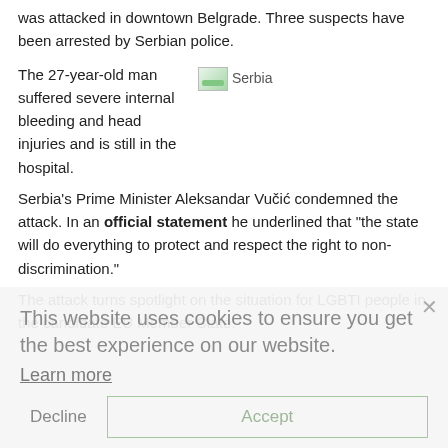was attacked in downtown Belgrade. Three suspects have been arrested by Serbian police.
The 27-year-old man suffered severe internal bleeding and head injuries and is still in the hospital.
[Figure (photo): Small thumbnail image labeled 'Serbia' with a landscape photo placeholder]
Serbia's Prime Minister Aleksandar Vučić condemned the attack. In an official statement he underlined that "the state will do everything to protect and respect the right to non-discrimination."
The attack turns spotlight on the situation for LGBTI people in the candidate EU Member State.
This website uses cookies to ensure you get the best experience on our website.
Learn more
Decline
Accept